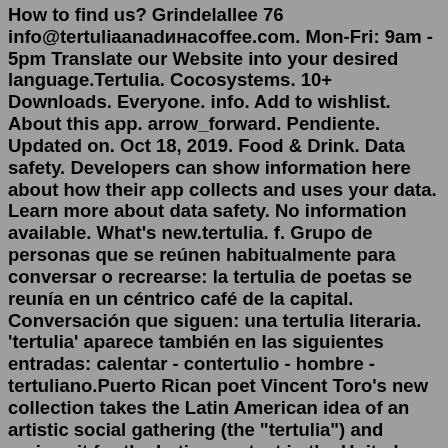How to find us? Grindelалlee 76 info@tertuliaanadинacoffee.com. Mon-Fri: 9am - 5pm Translate our Website into your desired language.Tertulia. Cocosystems. 10+ Downloads. Everyone. info. Add to wishlist. About this app. arrow_forward. Pendiente. Updated on. Oct 18, 2019. Food & Drink. Data safety. Developers can show information here about how their app collects and uses your data. Learn more about data safety. No information available. What's new.tertulia. f. Grupo de personas que se reúnen habitualmente para conversar o recrearse: la tertulia de poetas se reunía en un céntrico café de la capital. Conversación que siguen: una tertulia literaria. 'tertulia' aparece también en las siguientes entradas: calentar - contertulio - hombre - tertuliano.Puerto Rican poet Vincent Toro's new collection takes the Latin American idea of an artistic social gathering (the "tertulia") and revises it for the Latinx context in the United States. In verses dense with juxtaposition, the collection examines immigration, economics,